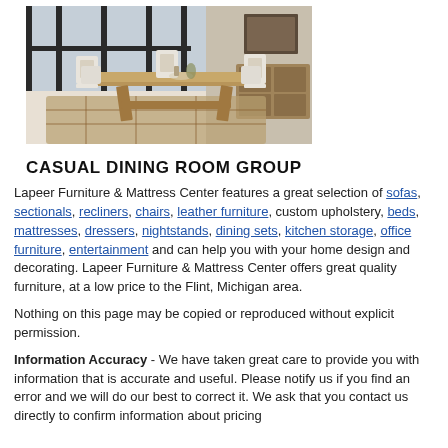[Figure (photo): Photo of a casual dining room group featuring a wooden trestle dining table with white ladder-back chairs on a plaid rug, with a sideboard in background and large windows.]
CASUAL DINING ROOM GROUP
Lapeer Furniture & Mattress Center features a great selection of sofas, sectionals, recliners, chairs, leather furniture, custom upholstery, beds, mattresses, dressers, nightstands, dining sets, kitchen storage, office furniture, entertainment and can help you with your home design and decorating. Lapeer Furniture & Mattress Center offers great quality furniture, at a low price to the Flint, Michigan area.
Nothing on this page may be copied or reproduced without explicit permission.
Information Accuracy - We have taken great care to provide you with information that is accurate and useful. Please notify us if you find an error and we will do our best to correct it. We ask that you contact us directly to confirm information about pricing